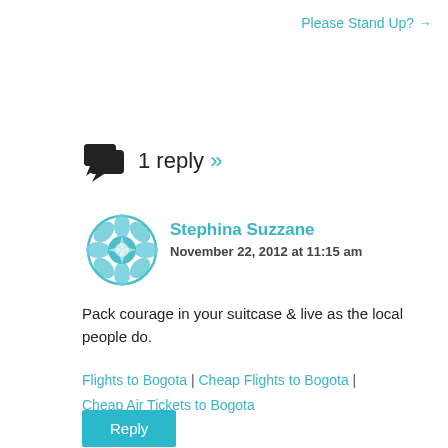Please Stand Up? →
1 reply »
[Figure (illustration): Two overlapping speech bubble / chat icons in black]
[Figure (illustration): Decorative teal geometric mandala-style avatar icon for Stephina Suzzane]
Stephina Suzzane
November 22, 2012 at 11:15 am
Pack courage in your suitcase & live as the local people do.
Flights to Bogota | Cheap Flights to Bogota | Cheap Air Tickets to Bogota
Reply